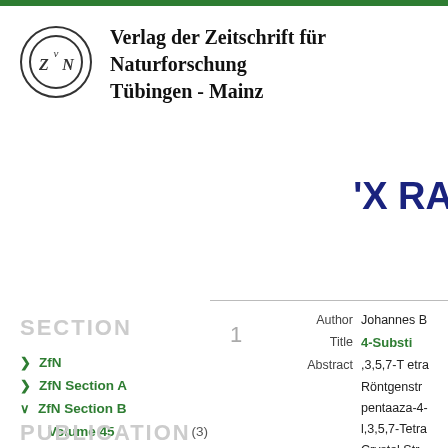[Figure (logo): Circular logo with stylized VZN letters for Verlag der Zeitschrift für Naturforschung]
Verlag der Zeitschrift für Naturforschung
Tübingen - Mainz
'X RA
SECTION
> ZfN
> ZfN Section A
v ZfN Section B
Volume 45   (3)
> ZfN Section C
PUBLICATION
1
Author   Johannes B
Title   4-Substi
Abstract   ,3,5,7-Tetra
Röntgenstr
pentaaza-4-
l,3,5,7-Tetra
Crystal Str
F-dirboor